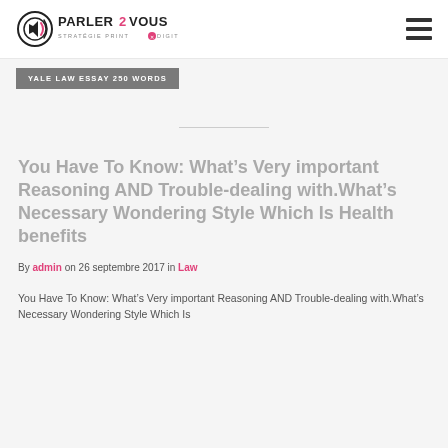[Figure (logo): Parler2vous logo - circular speaker icon with text 'PARLER2VOUS STRATÉGIE PRINT & DIGITALE']
YALE LAW ESSAY 250 WORDS
You Have To Know: What's Very important Reasoning AND Trouble-dealing with.What's Necessary Wondering Style Which Is Health benefits
By admin on 26 septembre 2017 in Law
You Have To Know: What's Very important Reasoning AND Trouble-dealing with.What's Necessary Wondering Style Which Is